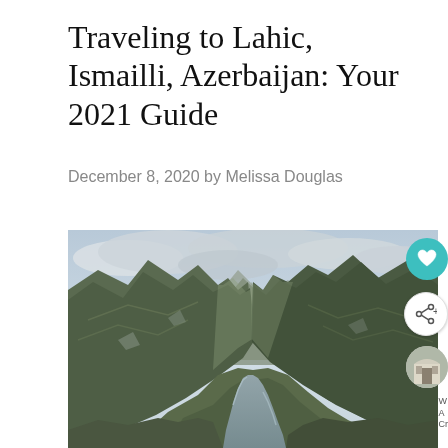Traveling to Lahic, Ismailli, Azerbaijan: Your 2021 Guide
December 8, 2020 by Melissa Douglas
[Figure (photo): Mountain valley landscape with river flowing through, green forested slopes, dramatic rocky peaks and cloudy sky — the mountains near Lahic, Ismailli, Azerbaijan]